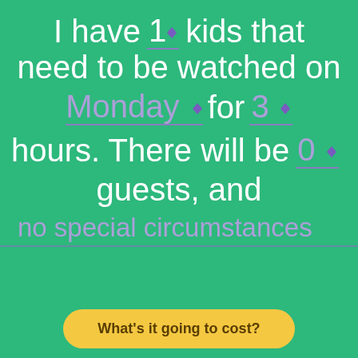I have 1 kids that need to be watched on Monday for 3 hours. There will be 0 guests, and no special circumstances
[Figure (screenshot): Interactive form UI on green background with spinner controls for number of kids (1), day of week (Monday), hours (3), and guests (0), with a 'no special circumstances' field and a yellow 'What's it going to cost?' button]